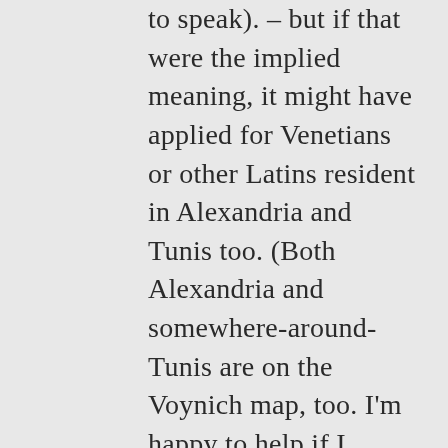foreign passport (so to speak). – but if that were the implied meaning, it might have applied for Venetians or other Latins resident in Alexandria and Tunis too. (Both Alexandria and somewhere-around-Tunis are on the Voynich map, too. I'm happy to help if I